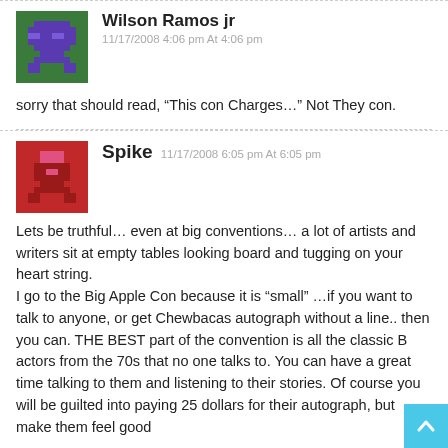[Figure (illustration): Pixel art avatar of Wilson Ramos jr — green background with purple pixel character]
Wilson Ramos jr
11/17/2008 4:06 pm At 4:06 pm
sorry that should read, “This con Charges…” Not They con.
[Figure (illustration): Pixel art avatar of Spike — red background with pixel character]
Spike
11/17/2008 6:05 pm At 6:05 pm
Lets be truthful… even at big conventions… a lot of artists and writers sit at empty tables looking board and tugging on your heart string.
I go to the Big Apple Con because it is “small” …if you want to talk to anyone, or get Chewbacas autograph without a line.. then you can. THE BEST part of the convention is all the classic B actors from the 70s that no one talks to. You can have a great time talking to them and listening to their stories. Of course you will be guilted into paying 25 dollars for their autograph, but make them feel good